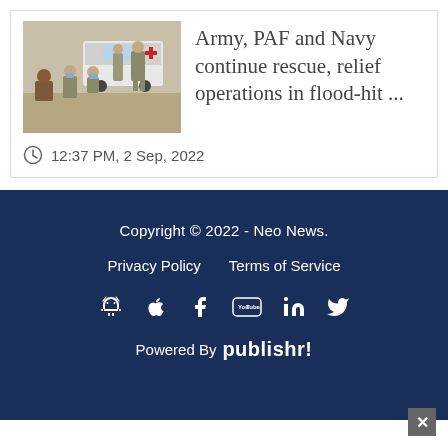[Figure (photo): News article card with a photo of military personnel (army soldiers in uniform/masks) assisting civilians outdoors near a vehicle, alongside article headline text]
Army, PAF and Navy continue rescue, relief operations in flood-hit ...
12:37 PM, 2 Sep, 2022
Copyright © 2022 - Neo News. | Privacy Policy | Terms of Service | Powered By publishr!